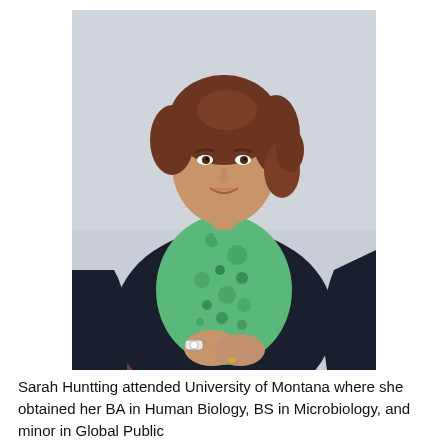[Figure (photo): Professional photo of Sarah Huntting, a woman with curly brown hair wearing a black blazer over a green polka-dot blouse, standing with hands clasped, white watch visible, with a light gray background and a dark wooden railing to her left.]
Sarah Huntting attended University of Montana where she obtained her BA in Human Biology, BS in Microbiology, and minor in Global Public